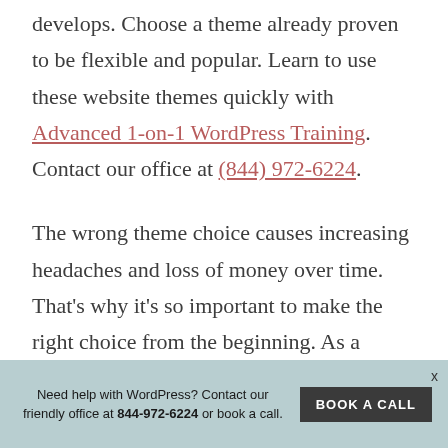develops. Choose a theme already proven to be flexible and popular. Learn to use these website themes quickly with Advanced 1-on-1 WordPress Training. Contact our office at (844) 972-6224.
The wrong theme choice causes increasing headaches and loss of money over time. That's why it's so important to make the right choice from the beginning. As a developer
Need help with WordPress? Contact our friendly office at 844-972-6224 or book a call. BOOK A CALL